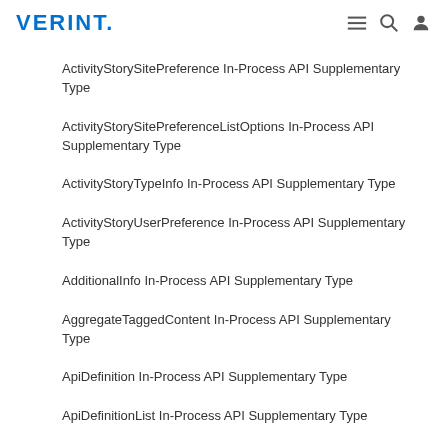VERINT.
ActivityStorySitePreference In-Process API Supplementary Type
ActivityStorySitePreferenceListOptions In-Process API Supplementary Type
ActivityStoryTypeInfo In-Process API Supplementary Type
ActivityStoryUserPreference In-Process API Supplementary Type
AdditionalInfo In-Process API Supplementary Type
AggregateTaggedContent In-Process API Supplementary Type
ApiDefinition In-Process API Supplementary Type
ApiDefinitionList In-Process API Supplementary Type
ApiList(T) In-Process API Supplementary Type
Application In-Process API Supplementary Type
ApplicationSubscriberListOptions In-Process API Supplementary Type
ApplicationSubscription In-Process API Supplementary Type
ApplicationSubscriptionGetOptions In-Process API Supplementary Type
ApplicationSubscriptionListOptions In-Process API